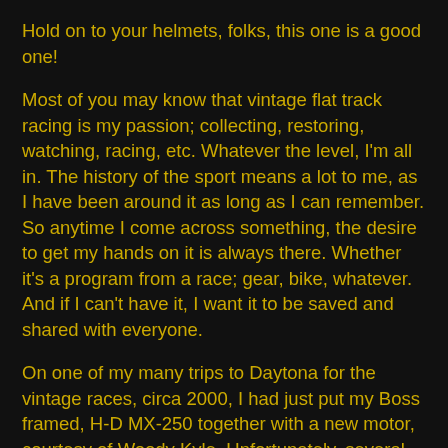Hold on to your helmets, folks, this one is a good one!
Most of you may know that vintage flat track racing is my passion; collecting, restoring, watching, racing, etc. Whatever the level, I'm all in. The history of the sport means a lot to me, as I have been around it as long as I can remember. So anytime I come across something, the desire to get my hands on it is always there. Whether it's a program from a race; gear, bike, whatever. And if I can't have it, I want it to be saved and shared with everyone.
On one of my many trips to Daytona for the vintage races, circa 2000, I had just put my Boss framed, H-D MX-250 together with a new motor, courtesy of Woody Kyle. Unfortunately, several inches of snow in Pennsylvania left me with no place to run it in and shake it down. I asked Woody for advice on where to go and he replied, “Considering the first race is in Neeses, SC, my dear friend